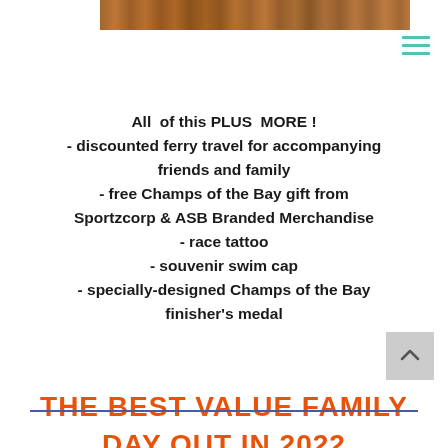[Figure (photo): Cropped photo strip of people in swimwear at a beach/bay event]
All of this PLUS MORE !
- discounted ferry travel for accompanying friends and family
- free Champs of the Bay gift from Sportzcorp & ASB Branded Merchandise
- race tattoo
- souvenir swim cap
- specially-designed Champs of the Bay finisher's medal
THE BEST VALUE FAMILY DAY OUT IN 2022